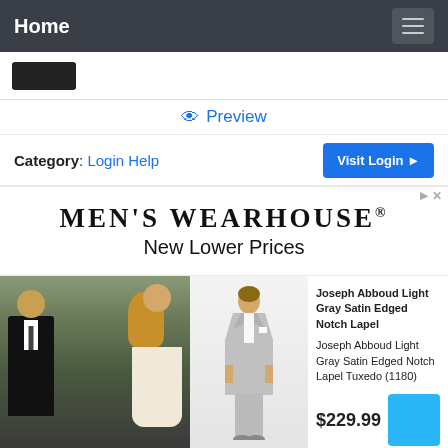Home
[Figure (screenshot): Black logo/brand mark on white strip]
Preview
Category: Login Help
Visit Login
[Figure (infographic): Men's Wearhouse advertisement banner with text MEN'S WEARHOUSE® New Lower Prices]
[Figure (photo): Couple in formal wear — man in dark tuxedo, woman in white dress — outdoor setting]
[Figure (photo): Man in light gray suit on white background]
Joseph Abboud Light Gray Satin Edged Notch Lapel
Joseph Abboud Light Gray Satin Edged Notch Lapel Tuxedo (1180)
$229.99